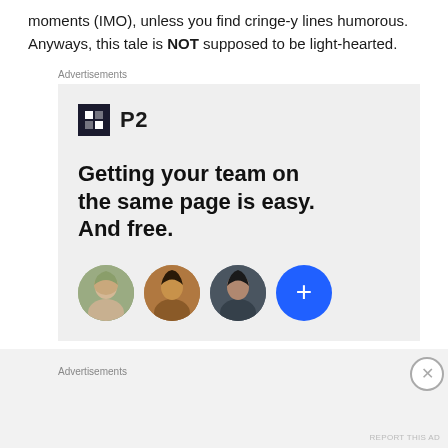moments (IMO), unless you find cringe-y lines humorous. Anyways, this tale is NOT supposed to be light-hearted.
Advertisements
[Figure (illustration): P2 advertisement banner with logo showing a dark square with grid icon and 'P2' text. Headline reads 'Getting your team on the same page is easy. And free.' with three circular avatar photos and a blue plus button below.]
Advertisements